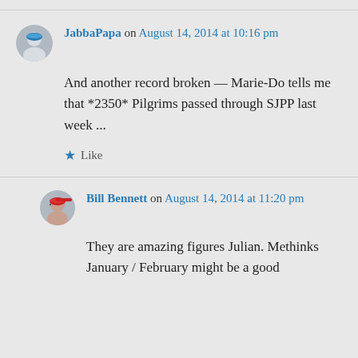JabbaPapa on August 14, 2014 at 10:16 pm
And another record broken — Marie-Do tells me that *2350* Pilgrims passed through SJPP last week ...
Like
Bill Bennett on August 14, 2014 at 11:20 pm
They are amazing figures Julian. Methinks January / February might be a good